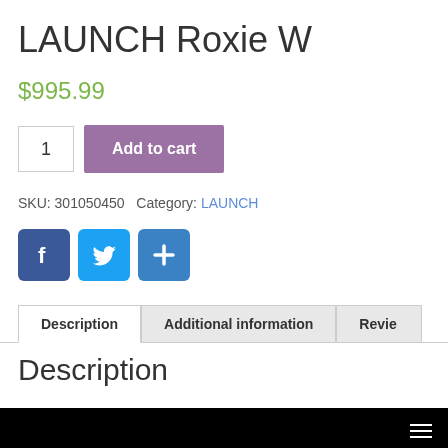LAUNCH Roxie W
$995.99
1  Add to cart
SKU: 301050450  Category: LAUNCH
[Figure (infographic): Social share icons: Facebook (blue), Twitter (light blue), Google+ / share (blue)]
Description | Additional information | Reviews
Description